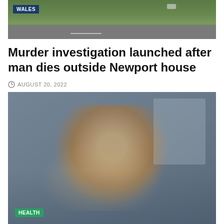[Figure (photo): Aerial or road-level photo of a green landscape with a road, labeled WALES in a dark blue badge]
Murder investigation launched after man dies outside Newport house
AUGUST 20, 2022
[Figure (photo): Photo of a person lying in bed with hand raised to face, labeled HEALTH in a green badge]